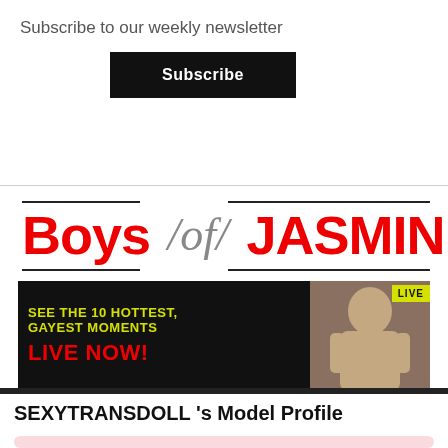Subscribe to our weekly newsletter
Subscribe
[Figure (other): Boys of Jasmin advertisement banner with logo and 'SEE THE 10 HOTTEST, GAYEST MOMENTS LIVE NOW!' sub-banner with photo]
SEXYTRANSDOLL 's Model Profile
[Figure (photo): Model profile photo area with pink border frame, partially visible dark hair at top]